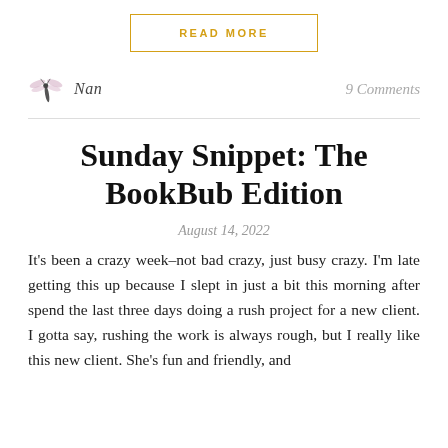READ MORE
Nan
9 Comments
Sunday Snippet: The BookBub Edition
August 14, 2022
It's been a crazy week–not bad crazy, just busy crazy. I'm late getting this up because I slept in just a bit this morning after spend the last three days doing a rush project for a new client. I gotta say, rushing the work is always rough, but I really like this new client. She's fun and friendly, and